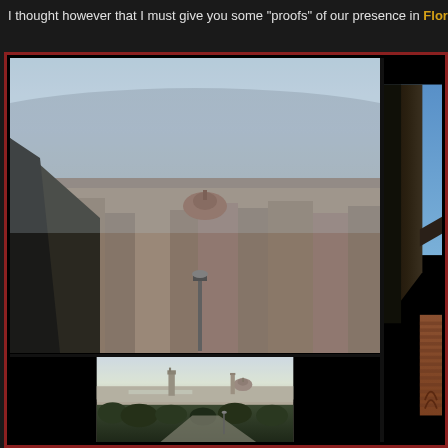I thought however that I must give you some "proofs" of our presence in Florence landmarks.
[Figure (photo): Aerial panoramic view of Florence city with the Duomo cathedral dome visible in the centre, taken from a hillside with trees and a street lamp in the foreground]
[Figure (photo): Panoramic view of Florence skyline showing the Palazzo Vecchio tower, Duomo, and Campanile from a hilltop vantage point with a road and trees in the foreground]
[Figure (photo): Close-up view of a historic stone building facade in Florence with a clear blue sky, showing part of a crenellated tower or palace]